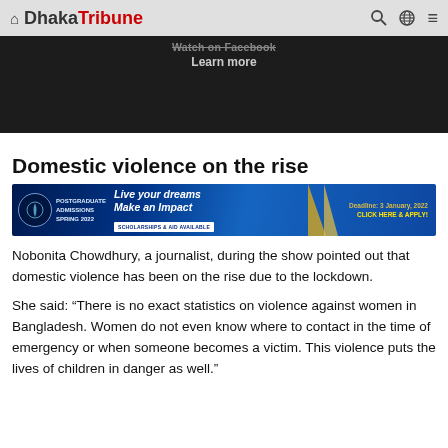Dhaka Tribune
[Figure (screenshot): Dark background banner with text 'Watch on Facebook' and 'Learn more']
Domestic violence on the rise
[Figure (infographic): BRAC University advertisement banner: Postgraduate Admissions Spring 2022, Live your dreams Make an Impact, Scholarships & Aid Available, Deadline: 3 January, 2022, Click Here & Apply!]
Nobonita Chowdhury, a journalist, during the show pointed out that domestic violence has been on the rise due to the lockdown.
She said: “There is no exact statistics on violence against women in Bangladesh. Women do not even know where to contact in the time of emergency or when someone becomes a victim. This violence puts the lives of children in danger as well.”